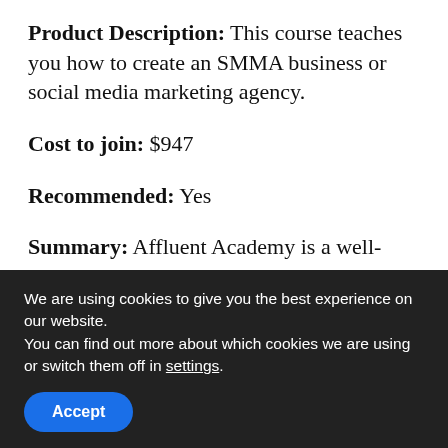Product Description: This course teaches you how to create an SMMA business or social media marketing agency.
Cost to join: $947
Recommended: Yes
Summary: Affluent Academy is a well-received course and this can be seen by the great review ratings on Trustpilot.
We are using cookies to give you the best experience on our website.
You can find out more about which cookies we are using or switch them off in settings.